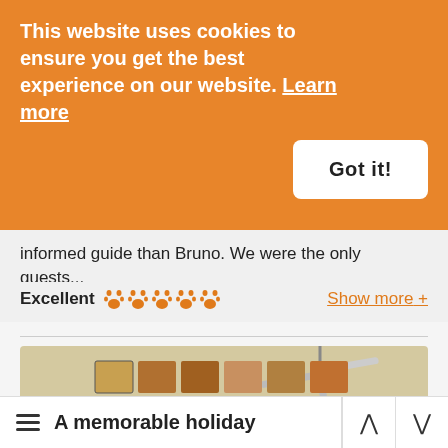This website uses cookies to ensure you get the best experience on our website. Learn more
Got it!
informed guide than Bruno. We were the only guests...
Excellent ✦✦✦✦✦   Show more +
[Figure (photo): Interior of a safari lodge room with dark curtains, ceiling fan, wildlife photo canvases on the green wall, and a panoramic window overlooking an African savanna landscape with acacia trees and a mountain in the background.]
A memorable holiday